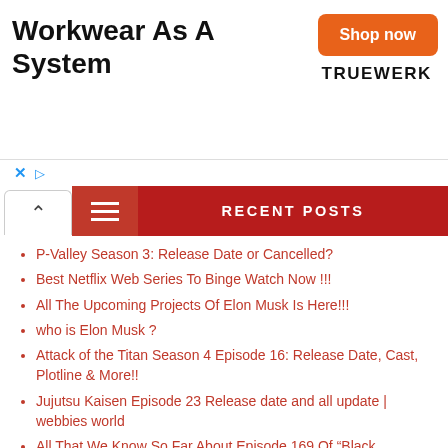[Figure (infographic): Advertisement banner for Truewerk workwear. Large bold text 'Workwear As A System', orange 'Shop now' button, and 'TRUEWERK' brand logo on the right.]
RECENT POSTS
P-Valley Season 3: Release Date or Cancelled?
Best Netflix Web Series To Binge Watch Now !!!
All The Upcoming Projects Of Elon Musk Is Here!!!
who is Elon Musk ?
Attack of the Titan Season 4 Episode 16: Release Date, Cast, Plotline & More!!
Jujutsu Kaisen Episode 23 Release date and all update | webbies world
All That We Know So Far About Episode 169 Of "Black Clover"!!!